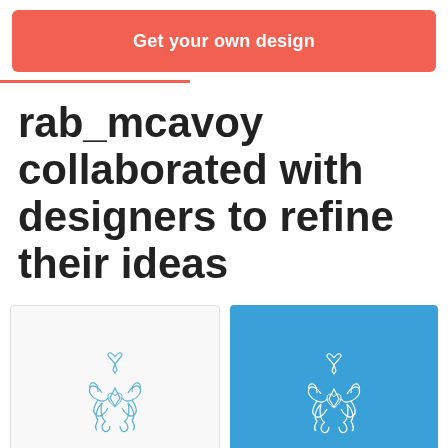Get your own design
rab_mcavoy collaborated with designers to refine their ideas
[Figure (logo): Two logo design cards side by side — left card on white background showing The Wedding Crashers ornamental logo in blue outline, right card on blue background showing the same logo in white outline. Both cards show 'THE WEDDING CRASHERS' text beneath the logo.]